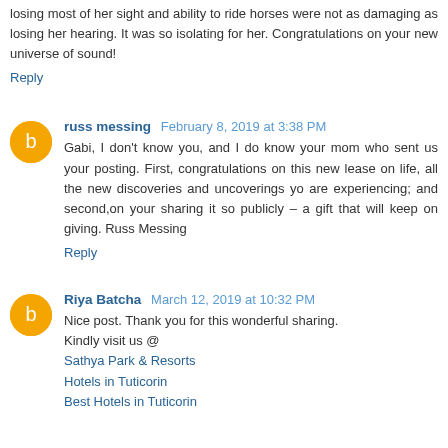losing most of her sight and ability to ride horses were not as damaging as losing her hearing. It was so isolating for her. Congratulations on your new universe of sound!
Reply
russ messing  February 8, 2019 at 3:38 PM
Gabi, I don't know you, and I do know your mom who sent us your posting. First, congratulations on this new lease on life, all the new discoveries and uncoverings yo are experiencing; and second,on your sharing it so publicly – a gift that will keep on giving. Russ Messing
Reply
Riya Batcha  March 12, 2019 at 10:32 PM
Nice post. Thank you for this wonderful sharing.
Kindly visit us @
Sathya Park & Resorts
Hotels in Tuticorin
Best Hotels in Tuticorin